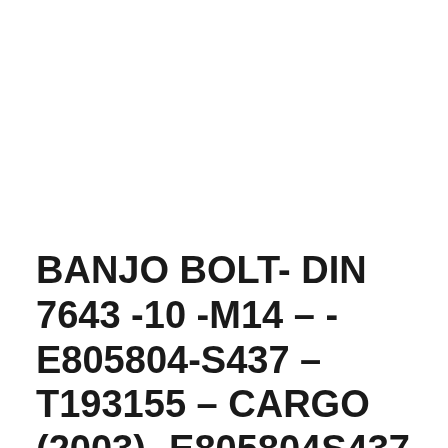BANJO BOLT- DIN 7643 -10 -M14 – - E805804-S437 – T193155 – CARGO (2003)- E805804S437